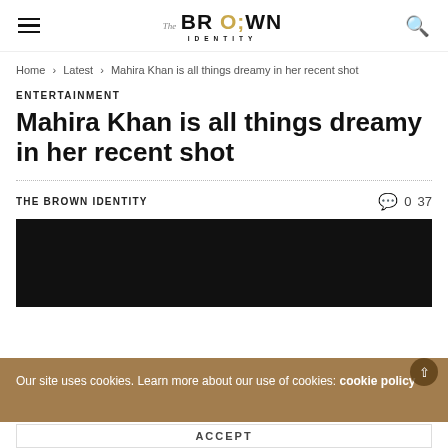The BROWN IDENTITY
Home › Latest › Mahira Khan is all things dreamy in her recent shot
ENTERTAINMENT
Mahira Khan is all things dreamy in her recent shot
THE BROWN IDENTITY  0  37
[Figure (photo): Black background image area for article photo]
Our site uses cookies. Learn more about our use of cookies: cookie policy
ACCEPT